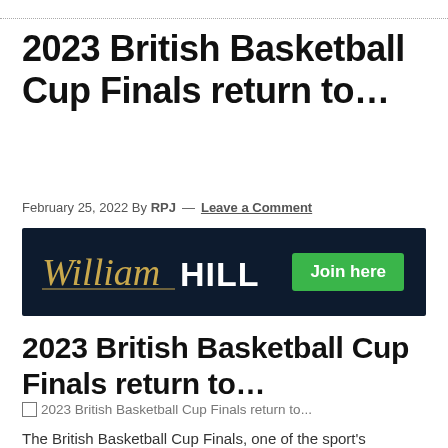2023 British Basketball Cup Finals return to…
February 25, 2022 By RPJ — Leave a Comment
[Figure (other): William Hill advertisement banner with dark navy background, William Hill logo in gold script and white bold text, and a green 'Join here' button on the right.]
2023 British Basketball Cup Finals return to…
[Figure (photo): Placeholder image for 2023 British Basketball Cup Finals return to...]
The British Basketball Cup Finals, one of the sport's